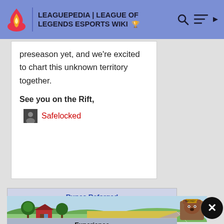LEAGUEPEDIA | LEAGUE OF LEGENDS ESPORTS WIKI
preseason yet, and we're excited to chart this unknown territory together.
See you on the Rift,
Safelocked
| Runes Reforged |
| --- |
| Champions |
| Experience |
[Figure (illustration): Advertisement banner showing a rural farm scene with fields, trees, a red barn, and Smokey Bear mascot wearing a ranger hat]